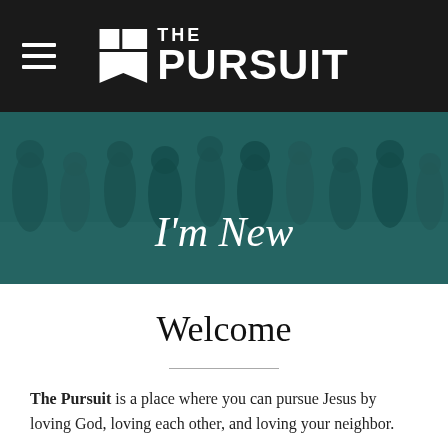THE PURSUIT
[Figure (photo): A crowd of people in a lobby or gathering space with a teal/dark overlay, used as a hero banner image with the text 'I'm New' overlaid in white italic font.]
I'm New
Welcome
The Pursuit is a place where you can pursue Jesus by loving God, loving each other, and loving your neighbor.